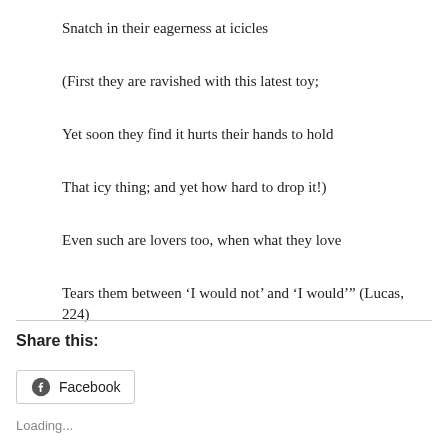Snatch in their eagerness at icicles
(First they are ravished with this latest toy;
Yet soon they find it hurts their hands to hold
That icy thing; and yet how hard to drop it!)
Even such are lovers too, when what they love
Tears them between ‘I would not’ and ‘I would’” (Lucas, 224)
Share this:
[Figure (screenshot): Facebook share button with Facebook logo icon and text 'Facebook']
Loading...